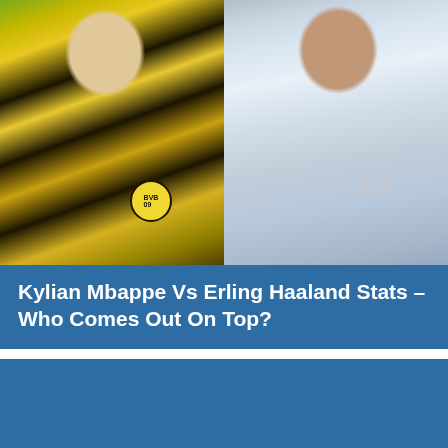[Figure (photo): Side-by-side photo of two football players: Erling Haaland on the left in a yellow and black Borussia Dortmund BVB jersey, and Kylian Mbappe on the right in a white France national team jersey with number 10.]
Kylian Mbappe Vs Erling Haaland Stats – Who Comes Out On Top?
[Figure (photo): A second image with a blue background, likely another photo related to the article about Mbappe vs Haaland.]